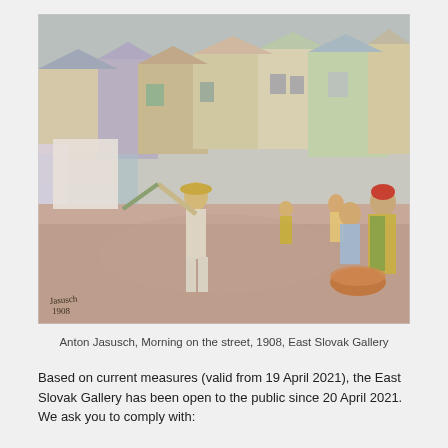[Figure (illustration): Painting by Anton Jasusch titled 'Morning on the street', 1908. An impressionist-style painting depicting figures working in a street scene with colorful buildings in the background. A man with a hat swings a tool on the left, and women in traditional dress gather around a large bowl on the right.]
Anton Jasusch, Morning on the street, 1908, East Slovak Gallery
Based on current measures (valid from 19 April 2021), the East Slovak Gallery has been open to the public since 20 April 2021. We ask you to comply with: